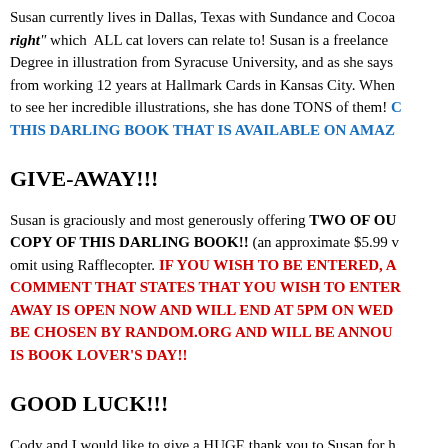Susan currently lives in Dallas, Texas with Sundance and Cocoa... "right" which ALL cat lovers can relate to! Susan is a freelance ... Degree in illustration from Syracuse University, and as she says ... from working 12 years at Hallmark Cards in Kansas City. When ... to see her incredible illustrations, she has done TONS of them! THIS DARLING BOOK THAT IS AVAILABLE ON AMAZ...
GIVE-AWAY!!!
Susan is graciously and most generously offering TWO OF OU... COPY OF THIS DARLING BOOK!! (an approximate $5.99 v... omit using Rafflecopter. IF YOU WISH TO BE ENTERED, A... COMMENT THAT STATES THAT YOU WISH TO ENTER... AWAY IS OPEN NOW AND WILL END AT 5PM ON WED... BE CHOSEN BY RANDOM.ORG AND WILL BE ANNOU... IS BOOK LOVER'S DAY!!
GOOD LUCK!!!
Cody and I would like to give a HUGE thank you to Susan for h...